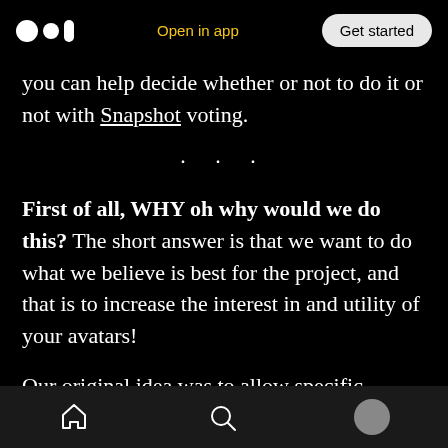Medium logo | Open in app | Get started
you can help decide whether or not to do it or not with Snapshot voting.
. . .
First of all, WHY oh why would we do this? The short answer is that we want to do what we believe is best for the project, and that is to increase the interest in and utility of your avatars!
Our original idea was to allow specific, targeted trait editing. So, if there were traits that didn't
Home | Search | Profile